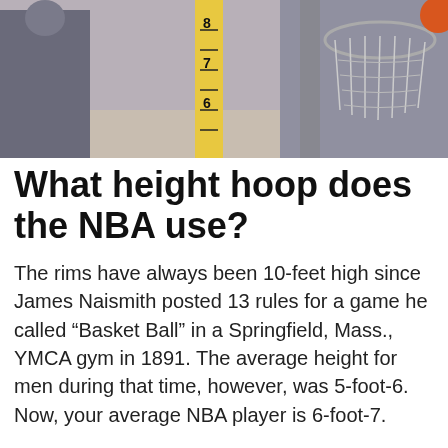[Figure (photo): Photo of a basketball hoop and net with a measuring tape showing measurements around 7-8 feet range, and a person visible on the left side of the image.]
What height hoop does the NBA use?
The rims have always been 10-feet high since James Naismith posted 13 rules for a game he called “Basket Ball” in a Springfield, Mass., YMCA gym in 1891. The average height for men during that time, however, was 5-foot-6. Now, your average NBA player is 6-foot-7.
What is the height of basketball ring?